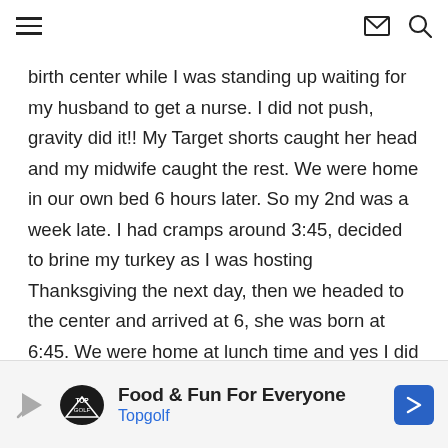[hamburger menu icon] [envelope icon] [search icon]
birth center while I was standing up waiting for my husband to get a nurse. I did not push, gravity did it!! My Target shorts caught her head and my midwife caught the rest. We were home in our own bed 6 hours later. So my 2nd was a week late. I had cramps around 3:45, decided to brine my turkey as I was hosting Thanksgiving the next day, then we headed to the center and arrived at 6, she was born at 6:45. We were home at lunch time and yes I did host Thanksgiving!
[Figure (other): Advertisement banner for Topgolf: 'Food & Fun For Everyone' with Topgolf logo and navigation arrow]